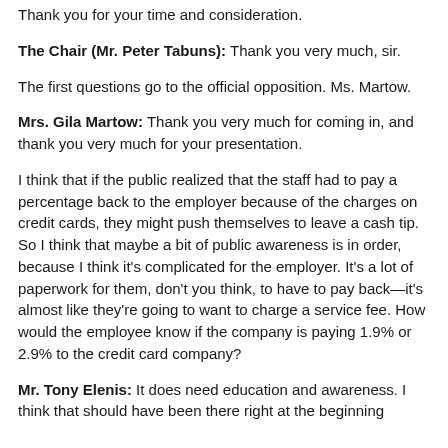Thank you for your time and consideration.
The Chair (Mr. Peter Tabuns): Thank you very much, sir.
The first questions go to the official opposition. Ms. Martow.
Mrs. Gila Martow: Thank you very much for coming in, and thank you very much for your presentation.
I think that if the public realized that the staff had to pay a percentage back to the employer because of the charges on credit cards, they might push themselves to leave a cash tip. So I think that maybe a bit of public awareness is in order, because I think it's complicated for the employer. It's a lot of paperwork for them, don't you think, to have to pay back—it's almost like they're going to want to charge a service fee. How would the employee know if the company is paying 1.9% or 2.9% to the credit card company?
Mr. Tony Elenis: It does need education and awareness. I think that should have been there right at the beginning